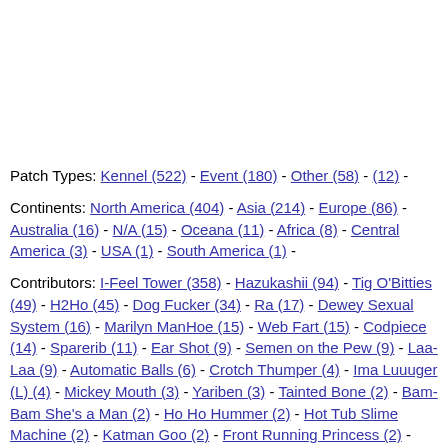Patch Types: Kennel (522) - Event (180) - Other (58) - (12) -
Continents: North America (404) - Asia (214) - Europe (86) - Australia (16) - N/A (15) - Oceana (11) - Africa (8) - Central America (3) - USA (1) - South America (1) -
Contributors: I-Feel Tower (358) - Hazukashii (94) - Tig O'Bitties (49) - H2Ho (45) - Dog Fucker (34) - Ra (17) - Dewey Sexual System (16) - Marilyn ManHoe (15) - Web Fart (15) - Codpiece (14) - Sparerib (11) - Ear Shot (9) - Semen on the Pew (9) - Laa-Laa (9) - Automatic Balls (6) - Crotch Thumper (4) - Ima Luuuger (L) (4) - Mickey Mouth (3) - Yariben (3) - Tainted Bone (2) - Bam-Bam She's a Man (2) - Ho Ho Hummer (2) - Hot Tub Slime Machine (2) - Katman Goo (2) - Front Running Princess (2) - Stiff Meat (2) - Lazer Labia (2) - (2) - JEFFaFa (1) - Steve the Train